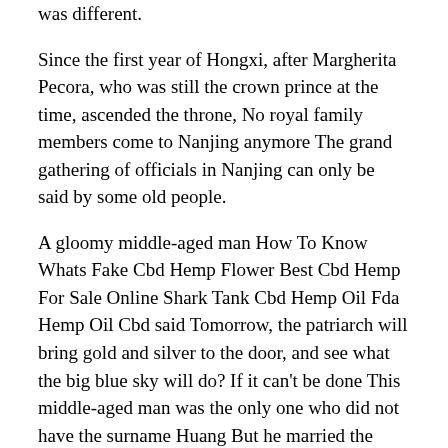was different.
Since the first year of Hongxi, after Margherita Pecora, who was still the crown prince at the time, ascended the throne, No royal family members come to Nanjing anymore The grand gathering of officials in Nanjing can only be said by some old people.
A gloomy middle-aged man How To Know Whats Fake Cbd Hemp Flower Best Cbd Hemp For Sale Online Shark Tank Cbd Hemp Oil Fda Hemp Oil Cbd said Tomorrow, the patriarch will bring gold and silver to the door, and see what the big blue sky will do? If it can't be done This middle-aged man was the only one who did not have the surname Huang But he married the daughter of the Huang family, and in the court roster, he did not have his life If you only know that the prince is not a buy cbd gummies canadaIs Cbd From Hemp Better weak scholar, he has led troops to fight, although he is not as good as the king